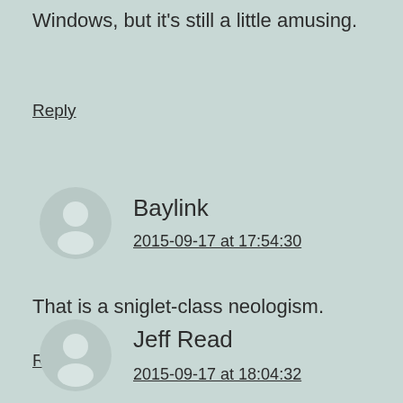Windows, but it's still a little amusing.
Reply
Baylink
2015-09-17 at 17:54:30
That is a sniglet-class neologism.
Reply
Jeff Read
2015-09-17 at 18:04:32